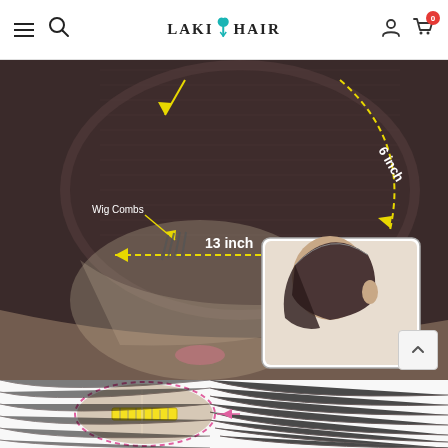LAKI HAIR — navigation bar with menu, search, logo, user icon, cart (0)
[Figure (photo): Close-up of a wig cap construction showing lace front with labeled measurements: '6 inch' along the top dashed arc and '13 inch' along the horizontal dashed line, with 'Wig Combs' label and yellow arrows. An inset thumbnail in the lower right shows a side profile view of the wig cap on a head. Background shows a model's chin area with pink lips.]
[Figure (photo): Bottom portion of a wig lace closure piece with a pink dashed circle highlight and a yellow ruler/tape measure showing scale, with straight hair flowing to the right.]